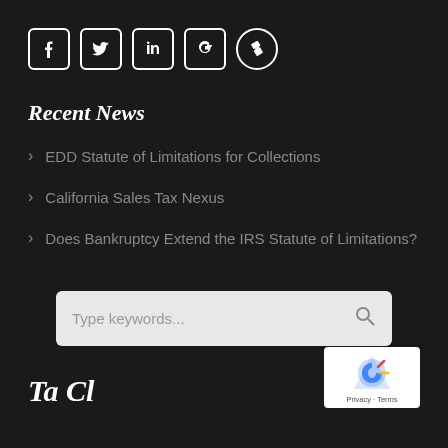[Figure (other): Social media icons: Facebook, Twitter, LinkedIn, Google+, Yelp]
Recent News
EDD Statute of Limitations for Collections
California Sales Tax Nexus
Does Bankruptcy Extend the IRS Statute of Limitations?
Type keywords...
Ta Cl...